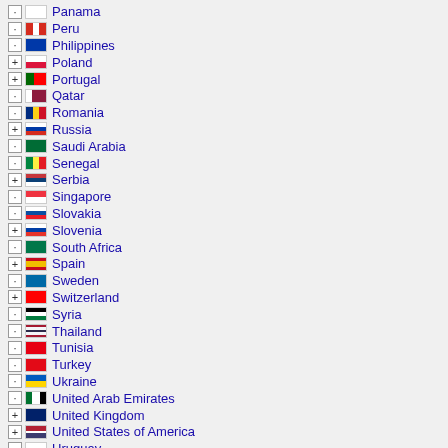Panama
Peru
Philippines
Poland
Portugal
Qatar
Romania
Russia
Saudi Arabia
Senegal
Serbia
Singapore
Slovakia
Slovenia
South Africa
Spain
Sweden
Switzerland
Syria
Thailand
Tunisia
Turkey
Ukraine
United Arab Emirates
United Kingdom
United States of America
Uruguay
Uzbekistan